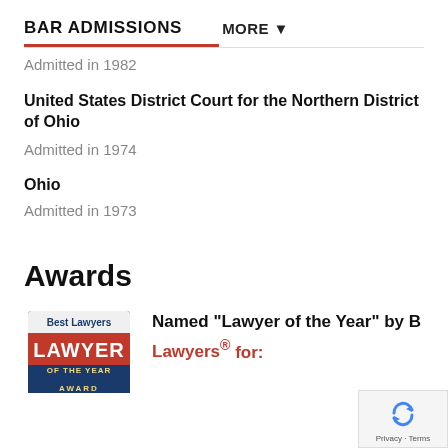BAR ADMISSIONS   MORE ▼
Admitted in 1982
United States District Court for the Northern District of Ohio
Admitted in 1974
Ohio
Admitted in 1973
Awards
[Figure (logo): Best Lawyers Lawyer of the Year Award badge/logo]
Named "Lawyer of the Year" by Best Lawyers® for: